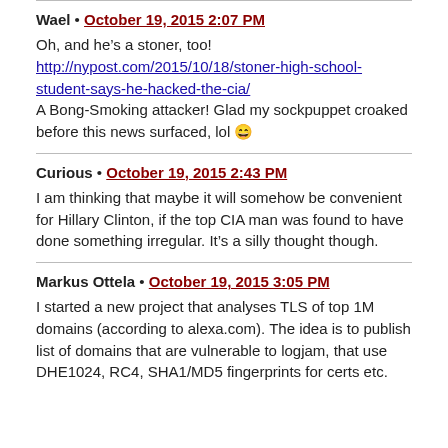Wael • October 19, 2015 2:07 PM
Oh, and he's a stoner, too!
http://nypost.com/2015/10/18/stoner-high-school-student-says-he-hacked-the-cia/
A Bong-Smoking attacker! Glad my sockpuppet croaked before this news surfaced, lol 😄
Curious • October 19, 2015 2:43 PM
I am thinking that maybe it will somehow be convenient for Hillary Clinton, if the top CIA man was found to have done something irregular. It's a silly thought though.
Markus Ottela • October 19, 2015 3:05 PM
I started a new project that analyses TLS of top 1M domains (according to alexa.com). The idea is to publish list of domains that are vulnerable to logjam, that use DHE1024, RC4, SHA1/MD5 fingerprints for certs etc.